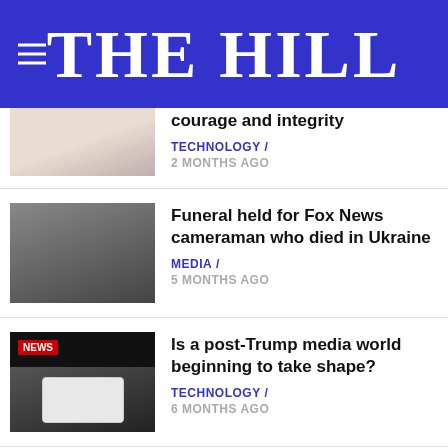THE HILL
courage and integrity
TECHNOLOGY / 2 MONTHS AGO
Funeral held for Fox News cameraman who died in Ukraine
MEDIA / 5 MONTHS AGO
Is a post-Trump media world beginning to take shape?
TECHNOLOGY / 6 MONTHS AGO